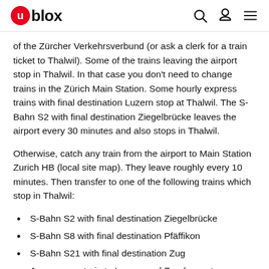u-blox
of the Zürcher Verkehrsverbund (or ask a clerk for a train ticket to Thalwil). Some of the trains leaving the airport stop in Thalwil. In that case you don't need to change trains in the Zürich Main Station. Some hourly express trains with final destination Luzern stop at Thalwil. The S-Bahn S2 with final destination Ziegelbrücke leaves the airport every 30 minutes and also stops in Thalwil.
Otherwise, catch any train from the airport to Main Station Zurich HB (local site map). They leave roughly every 10 minutes. Then transfer to one of the following trains which stop in Thalwil:
S-Bahn S2 with final destination Ziegelbrücke
S-Bahn S8 with final destination Pfäffikon
S-Bahn S21 with final destination Zug
Any express train to Luzern and Zug (except